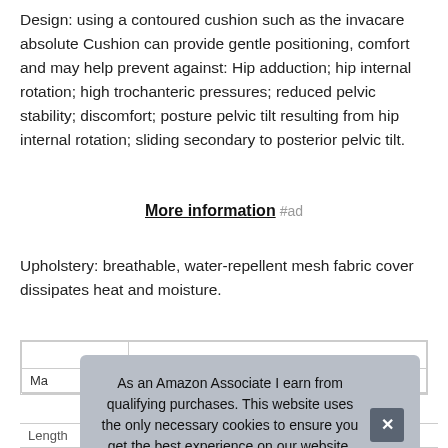Design: using a contoured cushion such as the invacare absolute Cushion can provide gentle positioning, comfort and may help prevent against: Hip adduction; hip internal rotation; high trochanteric pressures; reduced pelvic stability; discomfort; posture pelvic tilt resulting from hip internal rotation; sliding secondary to posterior pelvic tilt.
More information #ad
Upholstery: breathable, water-repellent mesh fabric cover dissipates heat and moisture.
| Ma |  |
| Length | 0 inches |
As an Amazon Associate I earn from qualifying purchases. This website uses the only necessary cookies to ensure you get the best experience on our website. More information